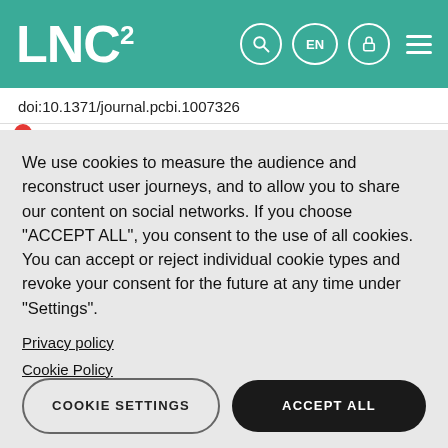LNC²
doi:10.1371/journal.pcbi.1007326
We use cookies to measure the audience and reconstruct user journeys, and to allow you to share our content on social networks. If you choose "ACCEPT ALL", you consent to the use of all cookies. You can accept or reject individual cookie types and revoke your consent for the future at any time under "Settings".
Privacy policy
Cookie Policy
COOKIE SETTINGS
ACCEPT ALL